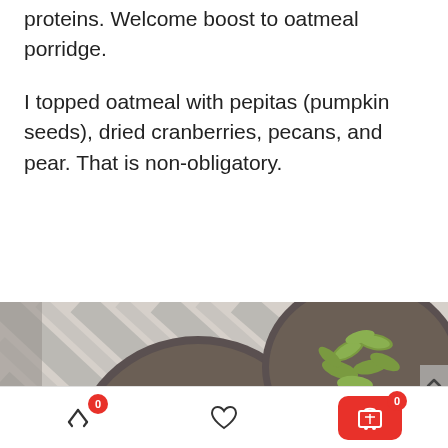proteins. Welcome boost to oatmeal porridge.
I topped oatmeal with pepitas (pumpkin seeds), dried cranberries, pecans, and pear. That is non-obligatory.
[Figure (photo): Overhead view of three small dark grey bowls containing pecans, pumpkin seeds (pepitas), and dried cranberries arranged on a striped grey-white linen. A white bowl of oatmeal topped with toppings is partially visible at the bottom.]
0  [share icon]  [heart icon]  0  [cart icon]